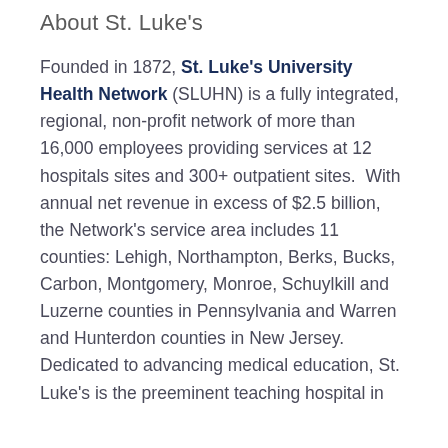About St. Luke's
Founded in 1872, St. Luke's University Health Network (SLUHN) is a fully integrated, regional, non-profit network of more than 16,000 employees providing services at 12 hospitals sites and 300+ outpatient sites. With annual net revenue in excess of $2.5 billion, the Network's service area includes 11 counties: Lehigh, Northampton, Berks, Bucks, Carbon, Montgomery, Monroe, Schuylkill and Luzerne counties in Pennsylvania and Warren and Hunterdon counties in New Jersey. Dedicated to advancing medical education, St. Luke's is the preeminent teaching hospital in